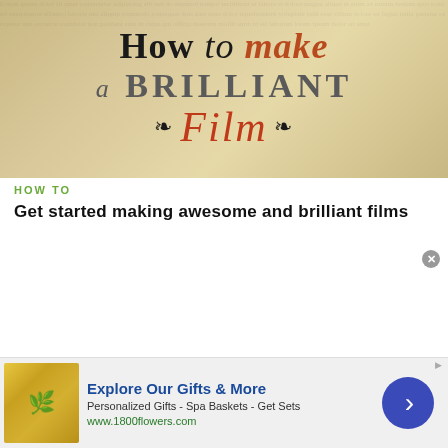[Figure (photo): Decorative vintage-style title card with parchment background reading 'How to make a BRILLIANT Film' with ornamental swirls. 'to' is in italic serif, 'make' and 'Film' are in orange-red, 'BRILLIANT' is in grey serif capitals.]
HOW TO
Get started making awesome and brilliant films
[Figure (photo): Dark-toned video still showing a middle-aged blonde man's face in dim brownish lighting, with a clapperboard visible in the upper right corner.]
[Figure (infographic): Advertisement banner for 1800flowers.com showing gift products (reed diffuser set, soap, lotion bottles in gold/yellow packaging). Ad text: 'Explore Our Gifts & More', 'Personalized Gifts - Spa Baskets - Get Sets', 'www.1800flowers.com'. Blue right-arrow button on right side.]